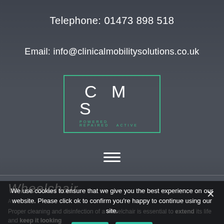Telephone: 01473 898 518
Email: info@clinicalmobilitysolutions.co.uk
[Figure (logo): CMS logo with green border rectangle, large white letters 'C M S', and green subtitle text 'POWERED REPAIRED ACTIVE']
[Figure (other): Hamburger menu icon with three horizontal white lines]
Wheelchair
Proper cleaning and disinfection of a wheelchair is essential to extend its life and keep it looking
We use cookies to ensure that we give you the best experience on our website. Please click ok to confirm you're happy to continue using our site.